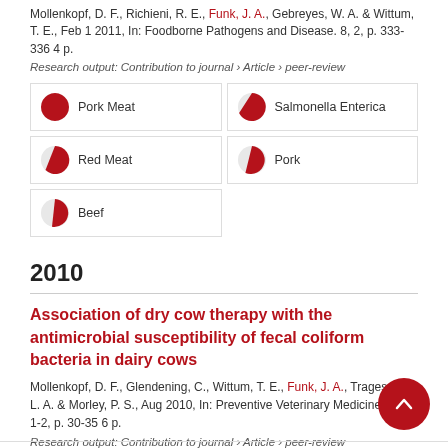Mollenkopf, D. F., Richieni, R. E., Funk, J. A., Gebreyes, W. A. & Wittum, T. E., Feb 1 2011, In: Foodborne Pathogens and Disease. 8, 2, p. 333-336 4 p.
Research output: Contribution to journal › Article › peer-review
[Figure (infographic): Five keyword boxes in a 2-column grid with pie chart icons: Pork Meat (100%), Salmonella Enterica (95%), Red Meat (85%), Pork (75%), Beef (65%)]
2010
Association of dry cow therapy with the antimicrobial susceptibility of fecal coliform bacteria in dairy cows
Mollenkopf, D. F., Glendening, C., Wittum, T. E., Funk, J. A., Tragesser, L. A. & Morley, P. S., Aug 2010, In: Preventive Veterinary Medicine. 96, 1-2, p. 30-35 6 p.
Research output: Contribution to journal › Article › peer-review